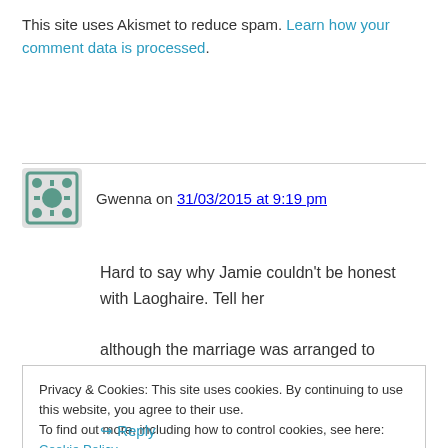This site uses Akismet to reduce spam. Learn how your comment data is processed.
Gwenna on 31/03/2015 at 9:19 pm
Hard to say why Jamie couldn’t be honest with Laoghaire. Tell her although the marriage was arranged to protect Claire from Black Jack, he loves her and is devoted to her. But then the
Privacy & Cookies: This site uses cookies. By continuing to use this website, you agree to their use.
To find out more, including how to control cookies, see here: Cookie Policy
→ Reply